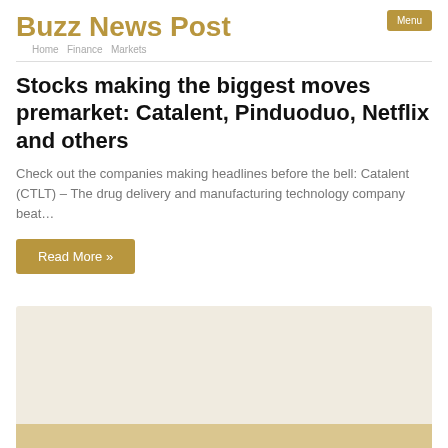Buzz News Post
Stocks making the biggest moves premarket: Catalent, Pinduoduo, Netflix and others
Check out the companies making headlines before the bell: Catalent (CTLT) – The drug delivery and manufacturing technology company beat…
Read More »
[Figure (photo): Image placeholder with light beige background and partial golden/tan bar at the bottom]